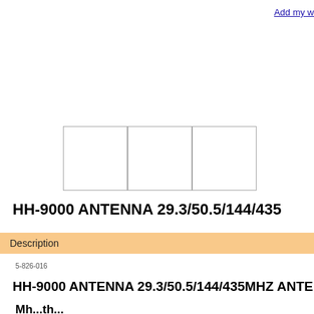Add my w
[Figure (photo): Three blank thumbnail image placeholders arranged horizontally]
HH-9000 ANTENNA 29.3/50.5/144/435
Description
5-826-016
HH-9000 ANTENNA 29.3/50.5/144/435MHZ ANTEN
Mh...th...